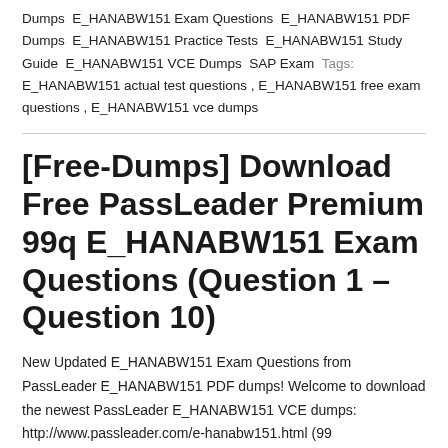Dumps  E_HANABW151 Exam Questions  E_HANABW151 PDF Dumps  E_HANABW151 Practice Tests  E_HANABW151 Study Guide  E_HANABW151 VCE Dumps  SAP Exam  Tags: E_HANABW151 actual test questions , E_HANABW151 free exam questions , E_HANABW151 vce dumps
[Free-Dumps] Download Free PassLeader Premium 99q E_HANABW151 Exam Questions (Question 1 – Question 10)
New Updated E_HANABW151 Exam Questions from PassLeader E_HANABW151 PDF dumps! Welcome to download the newest PassLeader E_HANABW151 VCE dumps: http://www.passleader.com/e-hanabw151.html (99